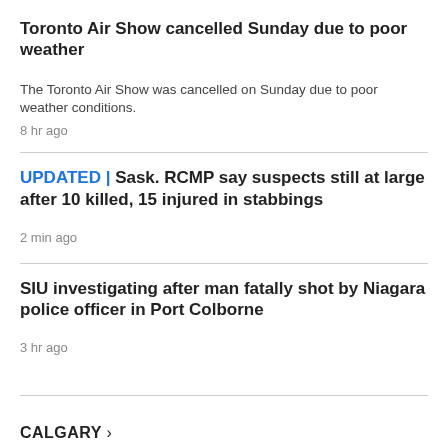Toronto Air Show cancelled Sunday due to poor weather
The Toronto Air Show was cancelled on Sunday due to poor weather conditions.
8 hr ago
UPDATED | Sask. RCMP say suspects still at large after 10 killed, 15 injured in stabbings
2 min ago
SIU investigating after man fatally shot by Niagara police officer in Port Colborne
3 hr ago
CALGARY >